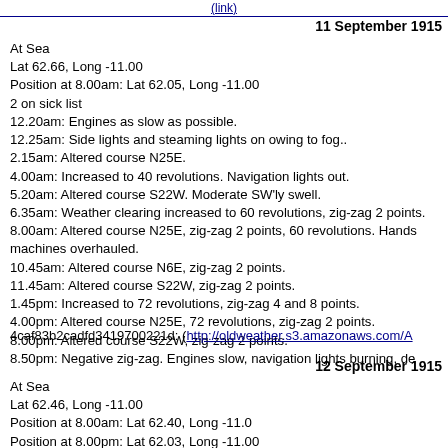(link)
11 September 1915
At Sea
Lat 62.66, Long -11.00
Position at 8.00am: Lat 62.05, Long -11.00
2 on sick list
12.20am: Engines as slow as possible.
12.25am: Side lights and steaming lights on owing to fog..
2.15am: Altered course N25E.
4.00am: Increased to 40 revolutions. Navigation lights out.
5.20am: Altered course S22W. Moderate SW'ly swell.
6.35am: Weather clearing increased to 60 revolutions, zig-zag 2 points.
8.00am: Altered course N25E, zig-zag 2 points, 60 revolutions. Hands machines overhauled.
10.45am: Altered course N6E, zig-zag 2 points.
11.45am: Altered course S22W, zig-zag 2 points.
1.45pm: Increased to 72 revolutions, zig-zag 4 and 8 points.
4.00pm: Altered course N25E, 72 revolutions, zig-zag 2 points.
8.00pm: Altered course S22W, zig-zag 2 points.
8.50pm: Negative zig-zag. Engines slow, navigation lights burning, de
4caf83b2cadfd3419700221d: (http://oldweather.s3.amazonaws.com/A
12 September 1915
At Sea
Lat 62.46, Long -11.00
Position at 8.00am: Lat 62.40, Long -11.0
Position at 8.00pm: Lat 62.03, Long -11.00
2 on sick list
2.10am: Altered course N25E. Engines at slow. Dense Fog.